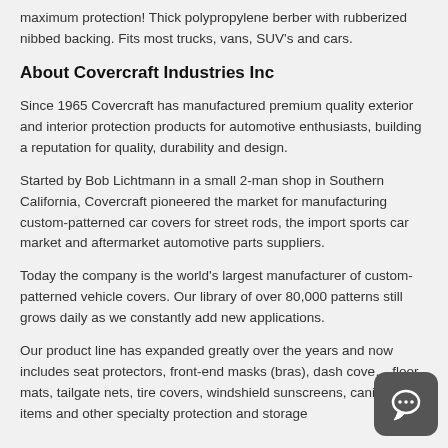maximum protection! Thick polypropylene berber with rubberized nibbed backing. Fits most trucks, vans, SUV's and cars.
About Covercraft Industries Inc
Since 1965 Covercraft has manufactured premium quality exterior and interior protection products for automotive enthusiasts, building a reputation for quality, durability and design.
Started by Bob Lichtmann in a small 2-man shop in Southern California, Covercraft pioneered the market for manufacturing custom-patterned car covers for street rods, the import sports car market and aftermarket automotive parts suppliers.
Today the company is the world's largest manufacturer of custom-patterned vehicle covers. Our library of over 80,000 patterns still grows daily as we constantly add new applications.
Our product line has expanded greatly over the years and now includes seat protectors, front-end masks (bras), dash cove… floor mats, tailgate nets, tire covers, windshield sunscreens, canine travel items and other specialty protection and storage